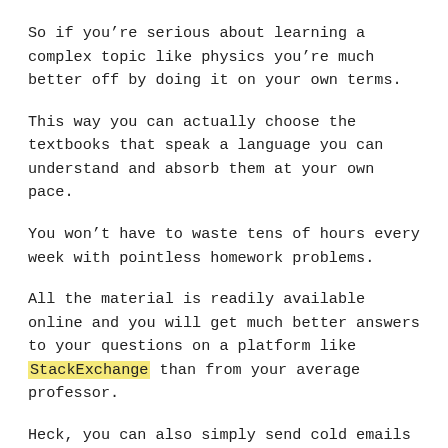So if you’re serious about learning a complex topic like physics you’re much better off by doing it on your own terms.
This way you can actually choose the textbooks that speak a language you can understand and absorb them at your own pace.
You won’t have to waste tens of hours every week with pointless homework problems.
All the material is readily available online and you will get much better answers to your questions on a platform like StackExchange than from your average professor.
Heck, you can also simply send cold emails to experts or show up in their office during